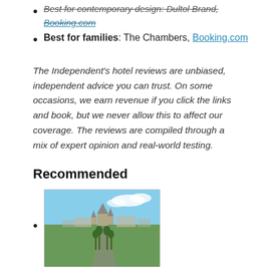Best for contemporary design: Dultol Brand, Booking.com
Best for families: The Chambers, Booking.com
The Independent's hotel reviews are unbiased, independent advice you can trust. On some occasions, we earn revenue if you click the links and book, but we never allow this to affect our coverage. The reviews are compiled through a mix of expert opinion and real-world testing.
Recommended
[Figure (photo): Aerial photograph of a city with historic church spires and a road lined with green trees.]